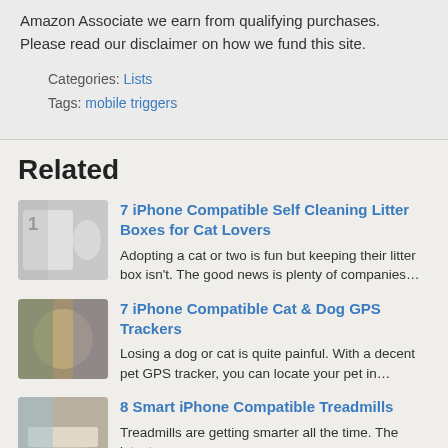Amazon Associate we earn from qualifying purchases. Please read our disclaimer on how we fund this site.
Categories: Lists
Tags: mobile triggers
Related
7 iPhone Compatible Self Cleaning Litter Boxes for Cat Lovers
Adopting a cat or two is fun but keeping their litter box isn't. The good news is plenty of companies…
7 iPhone Compatible Cat & Dog GPS Trackers
Losing a dog or cat is quite painful. With a decent pet GPS tracker, you can locate your pet in…
8 Smart iPhone Compatible Treadmills
Treadmills are getting smarter all the time. The latest